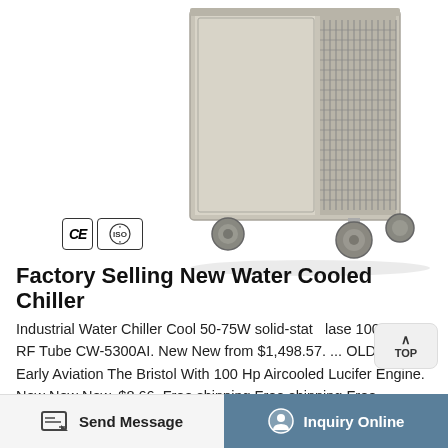[Figure (photo): Industrial water cooled chiller unit on wheels, light gray metal cabinet with ventilation grille on the right side, four caster wheels visible at bottom]
[Figure (logo): CE and ISO certification badges]
Factory Selling New Water Cooled Chiller
Industrial Water Chiller Cool 50-75W solid-state lase 100W CO2 RF Tube CW-5300AI. New New From $1,498.57. ... OLD PHOTO Early Aviation The Bristol With 100 Hp Aircooled Lucifer Engine. New New New. $8.66. Free shipping Free shipping Free shipping. T1 Beetle Chrome Dynamo or Alternator Pulley and Nut Classic Aircooled Bug. New New New.
Send Message    Inquiry Online